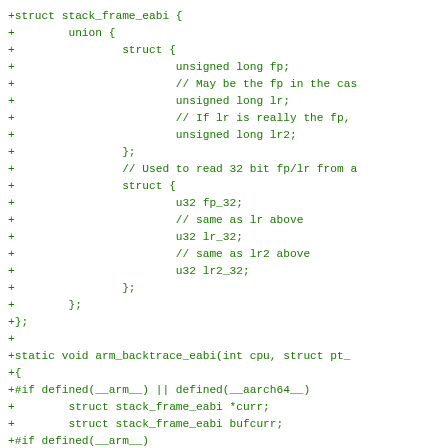+struct stack_frame_eabi {
+        union {
+                struct {
+                        unsigned long fp;
+                        // May be the fp in the cas
+                        unsigned long lr;
+                        // If lr is really the fp,
+                        unsigned long lr2;
+                };
+                // Used to read 32 bit fp/lr from a
+                struct {
+                        u32 fp_32;
+                        // same as lr above
+                        u32 lr_32;
+                        // same as lr2 above
+                        u32 lr2_32;
+                };
+        };
+};
+
+static void arm_backtrace_eabi(int cpu, struct pt_
+{
+#if defined(__arm__) || defined(__aarch64__)
+        struct stack_frame_eabi *curr;
+        struct stack_frame_eabi bufcurr;
+#if defined(__arm__)
+        const bool is_compat = false;
+        unsigned long fp = regs->ARM_fp;
+        unsigned long sp = regs->ARM_sp;
+        unsigned long lr = regs->ARM_lr;